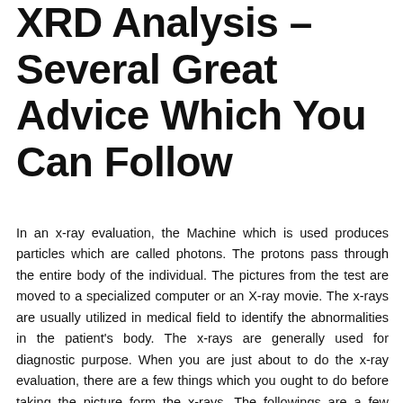XRD Analysis – Several Great Advice Which You Can Follow
In an x-ray evaluation, the Machine which is used produces particles which are called photons. The protons pass through the entire body of the individual. The pictures from the test are moved to a specialized computer or an X-ray movie. The x-rays are usually utilized in medical field to identify the abnormalities in the patient's body. The x-rays are generally used for diagnostic purpose. When you are just about to do the x-ray evaluation, there are a few things which you ought to do before taking the picture form the x-rays. The followings are a few things which you should do be sure you will do the right procedures for an x-ray evaluation. You should gauge the X-ray before implementing it so you will find a safe measurement. You